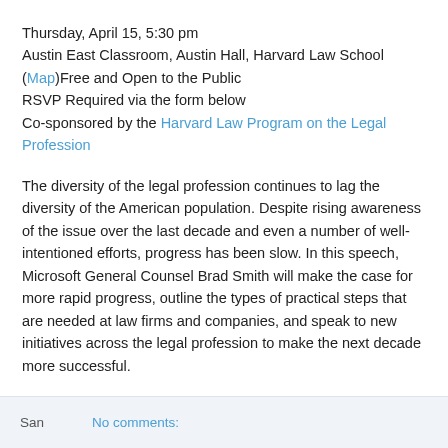Thursday, April 15, 5:30 pm
Austin East Classroom, Austin Hall, Harvard Law School
(Map)Free and Open to the Public
RSVP Required via the form below
Co-sponsored by the Harvard Law Program on the Legal Profession
The diversity of the legal profession continues to lag the diversity of the American population. Despite rising awareness of the issue over the last decade and even a number of well-intentioned efforts, progress has been slow. In this speech, Microsoft General Counsel Brad Smith will make the case for more rapid progress, outline the types of practical steps that are needed at law firms and companies, and speak to new initiatives across the legal profession to make the next decade more successful.
About Brad
San   No comments: